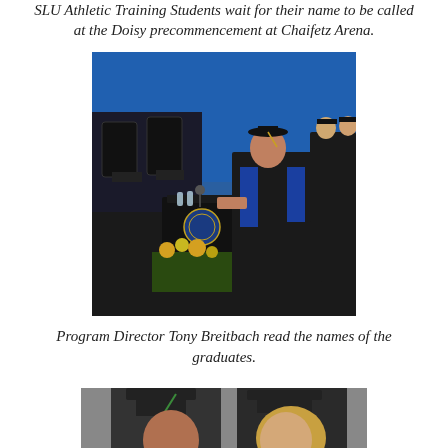SLU Athletic Training Students wait for their name to be called at the Doisy precommencement at Chaifetz Arena.
[Figure (photo): A person in academic regalia speaking at a podium at a graduation ceremony, with empty chairs and other robed individuals in the background, in a blue-lit arena.]
Program Director Tony Breitbach read the names of the graduates.
[Figure (photo): Two graduates in caps and gowns smiling together, partially cropped at the bottom of the page.]